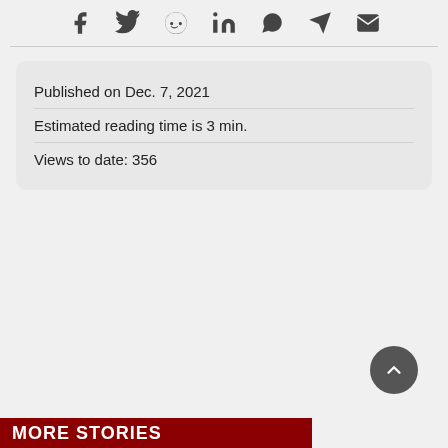[Figure (other): Social share icons row: Facebook, Twitter, Reddit, LinkedIn, WhatsApp, Telegram, Email]
Published on Dec. 7, 2021
Estimated reading time is 3 min.
Views to date: 356
MORE STORIES